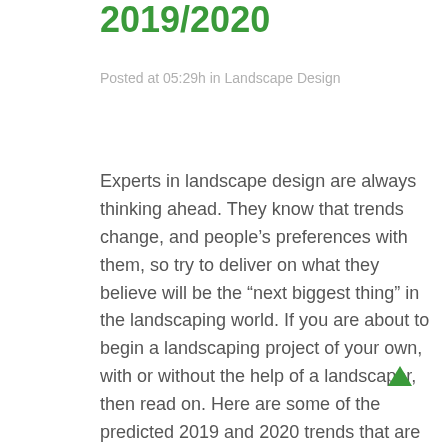2019/2020
Posted at 05:29h in Landscape Design
Experts in landscape design are always thinking ahead. They know that trends change, and people's preferences with them, so try to deliver on what they believe will be the “next biggest thing” in the landscaping world. If you are about to begin a landscaping project of your own, with or without the help of a landscaper, then read on. Here are some of the predicted 2019 and 2020 trends that are worth a closer look.